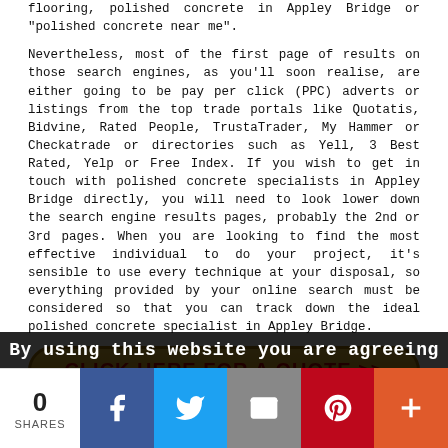flooring, polished concrete in Appley Bridge or "polished concrete near me".
Nevertheless, most of the first page of results on those search engines, as you'll soon realise, are either going to be pay per click (PPC) adverts or listings from the top trade portals like Quotatis, Bidvine, Rated People, TrustaTrader, My Hammer or Checkatrade or directories such as Yell, 3 Best Rated, Yelp or Free Index. If you wish to get in touch with polished concrete specialists in Appley Bridge directly, you will need to look lower down the search engine results pages, probably the 2nd or 3rd pages. When you are looking to find the most effective individual to do your project, it's sensible to use every technique at your disposal, so everything provided by your online search must be considered so that you can track down the ideal polished concrete specialist in Appley Bridge.
[Figure (other): Orange gradient button with red bold text: CLICK HERE FOR A QUOTE >>]
Polished Concrete Near Me
Also find: Haigh polished concrete, Blackrod polished
By using this website you are agreeing
0
SHARES